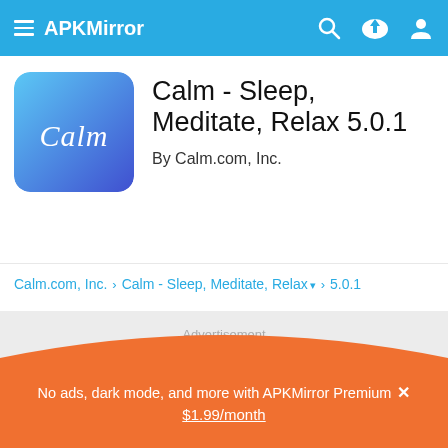APKMirror
Calm - Sleep, Meditate, Relax 5.0.1
By Calm.com, Inc.
Calm.com, Inc. > Calm - Sleep, Meditate, Relax > 5.0.1
Advertisement
No ads, dark mode, and more with APKMirror Premium × $1.99/month